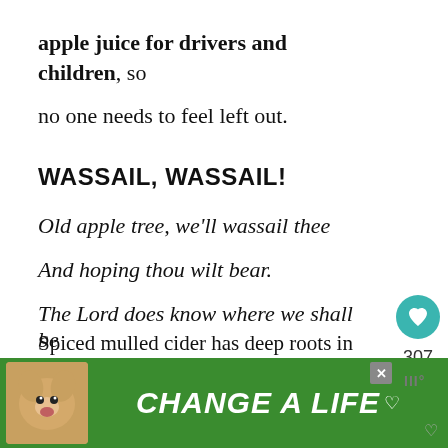apple juice for drivers and children, so no one needs to feel left out.
WASSAIL, WASSAIL!
Old apple tree, we'll wassail thee
And hoping thou wilt bear.
The Lord does know where we shall be
To be merry another year.
Spiced mulled cider has deep roots in
[Figure (infographic): Advertisement banner at the bottom with a dog image and 'CHANGE A LIFE' text on a green background, with a close button and a small logo.]